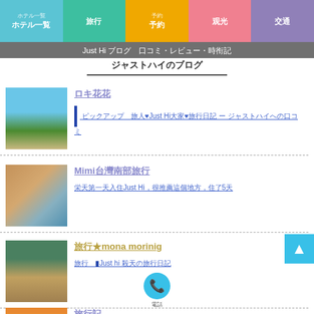ナビゲーション: ホテル一覧 | 旅行 | 予約 | 観光 | 交通
Just Hi ブログ　口コミ・レビュー・旅行記 ジャストハイのブログ
ロキ花花 - [ピックアップ] 旅人♥Just Hi大家♥旅行日記 - ジャストハイへの口コミ
Mimi台湾南部旅行 - 昨天第一天入住Just Hi，很推薦這個地方，住了5天
旅行★mona morinig - 旅行 ▍Just hi 每天的旅行日記
旅行記 - JUST HI ホテル紹介-2013年の旅行